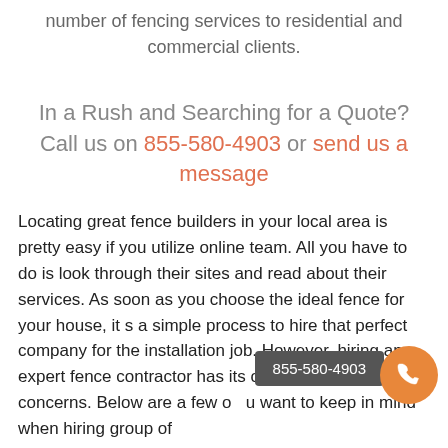number of fencing services to residential and commercial clients.
In a Rush and Searching for a Quote? Call us on 855-580-4903 or send us a message
Locating great fence builders in your local area is pretty easy if you utilize online team. All you have to do is look through their sites and read about their services. As soon as you choose the ideal fence for your house, it s a simple process to hire that perfect company for the installation job. However, hiring an expert fence contractor has its own set of problems and concerns. Below are a few of ... you want to keep in mind when hiring group of